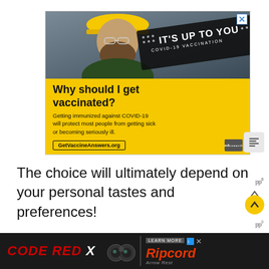[Figure (infographic): COVID-19 vaccination public service advertisement. Top half shows a bearded man wearing a yellow hard hat in an industrial setting. A diagonal dark banner reads 'IT'S UP TO YOU' and 'COVID-19 VACCINATION'. Bottom half is yellow with text: 'Why should I get vaccinated? Getting immunized against COVID-19 will protect most people from getting sick or becoming seriously ill.' and URL 'GetVaccineAnswers.org' with Ad Council logo. Close X button in top right.]
The choice will ultimately depend on your personal tastes and preferences!
[Figure (infographic): Bottom banner advertisement: 'CODE RED X' text on dark background with product image, and 'Ripcord Arrow Rest' advertisement with LEARN MORE button, dismiss X button.]